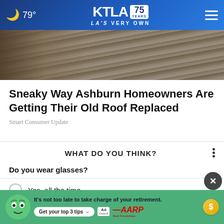79° KTLA 75 YEARS LA'S VERY OWN
[Figure (photo): Close-up photo of old roof shingles showing worn surface textures]
Sneaky Way Ashburn Homeowners Are Getting Their Old Roof Replaced
Smart Consumer Update
WHAT DO YOU THINK?
Do you wear glasses?
Yes, all the time
Yes, sometimes
No, I never wear glasses
[Figure (infographic): AARP advertisement banner: It's not too late to take charge of your retirement. Get your top 3 tips. Ad Council AARP Real Possibilities logo with green mascot and coin icon.]